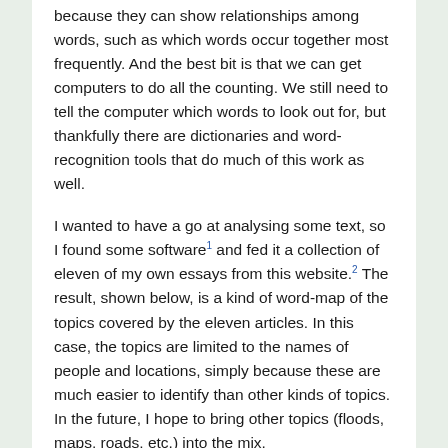because they can show relationships among words, such as which words occur together most frequently. And the best bit is that we can get computers to do all the counting. We still need to tell the computer which words to look out for, but thankfully there are dictionaries and word-recognition tools that do much of this work as well.
I wanted to have a go at analysing some text, so I found some software[1] and fed it a collection of eleven of my own essays from this website.[2] The result, shown below, is a kind of word-map of the topics covered by the eleven articles. In this case, the topics are limited to the names of people and locations, simply because these are much easier to identify than other kinds of topics. In the future, I hope to bring other topics (floods, maps, roads, etc.) into the mix.